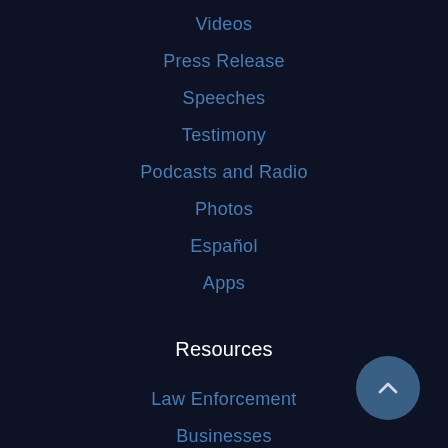Videos
Press Release
Speeches
Testimony
Podcasts and Radio
Photos
Español
Apps
Resources
Law Enforcement
Businesses
Victim Assistance
Reports & Publications